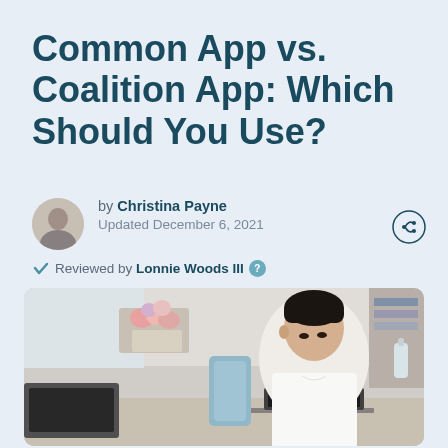Common App vs. Coalition App: Which Should You Use?
by Christina Payne
Updated December 6, 2021
Reviewed by Lonnie Woods III
[Figure (photo): A young Asian male student in a white button-up shirt sitting at a desk working on a laptop, with a home office/kitchen background featuring flowers and shelving]